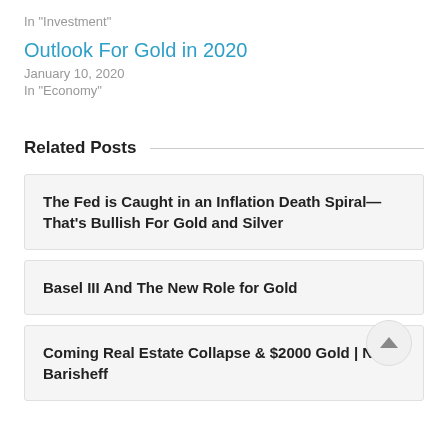In "Investment"
Outlook For Gold in 2020
January 10, 2020
In "Economy"
Related Posts
The Fed is Caught in an Inflation Death Spiral—That's Bullish For Gold and Silver
Basel III And The New Role for Gold
Coming Real Estate Collapse & $2000 Gold | Nick Barisheff